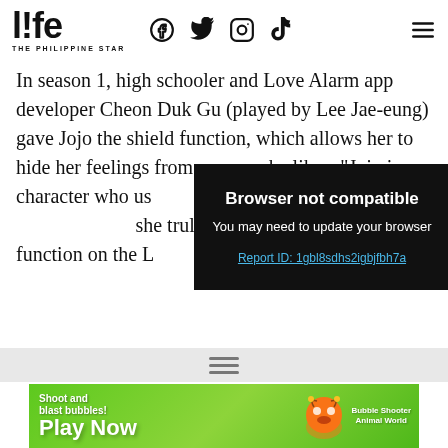life THE PHILIPPINE STAR
In season 1, high schooler and Love Alarm app developer Cheon Duk Gu (played by Lee Jae-eung) gave Jojo the shield function, which allows her to hide her feelings from anyone she likes. “Jojo is a character who us[...] added, “She was [...] she truly felt, wh[...] function on the L[...]
[Figure (screenshot): Browser not compatible overlay with dark background. Title: 'Browser not compatible'. Subtitle: 'You may need to update your browser'. Link: 'Report ID: 1gbl8sdhs2igbjfbh7a']
[Figure (infographic): Advertisement banner: Bubble Shooter Animal World game ad with 'Shoot and blast bubbles! Play Now' text on green background with animal characters.]